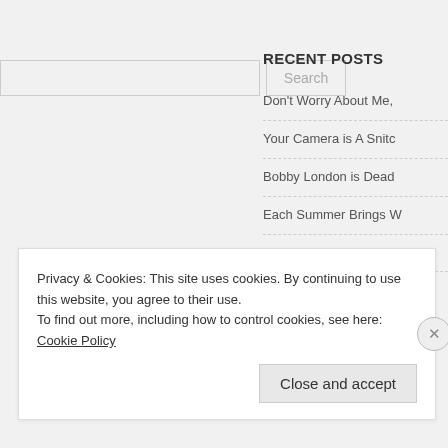[Figure (screenshot): Search input box and Search button]
RECENT POSTS
Don't Worry About Me,
Your Camera is A Snitc
Bobby London is Dead
Each Summer Brings W
The Drones Have Com
Privacy & Cookies: This site uses cookies. By continuing to use this website, you agree to their use.
To find out more, including how to control cookies, see here: Cookie Policy
Close and accept